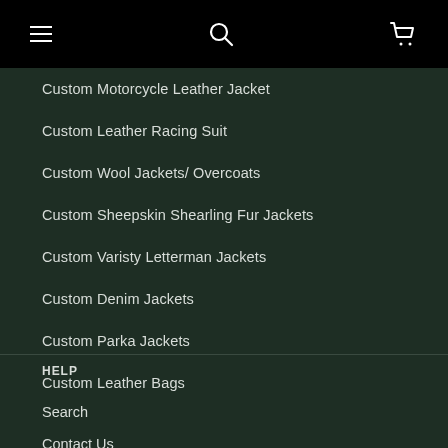Navigation header with menu, search, and cart icons
Custom Motorcycle Leather Jacket
Custom Leather Racing Suit
Custom Wool Jackets/ Overcoats
Custom Sheepskin Shearling Fur Jackets
Custom Varisty Letterman Jackets
Custom Denim Jackets
Custom Parka Jackets
Custom Leather Bags
HELP
Search
Contact Us